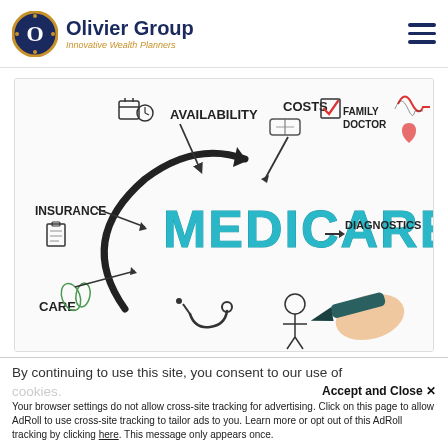Olivier Group — Innovative Wealth Planners
[Figure (illustration): Medicare infographic showing a hand drawing the word MEDICARE in blue marker, surrounded by labeled icons: AVAILABILITY (calendar and clock), COSTS (money bills), FAMILY DOCTOR (checkbox with red checkmark), DIAGNOSTICS (heart monitor), INSURANCE (clipboard), CARE (green leaves and hands)]
By continuing to use this site, you consent to our use of cookies.
Accept and Close ✕
Your browser settings do not allow cross-site tracking for advertising. Click on this page to allow AdRoll to use cross-site tracking to tailor ads to you. Learn more or opt out of this AdRoll tracking by clicking here. This message only appears once.